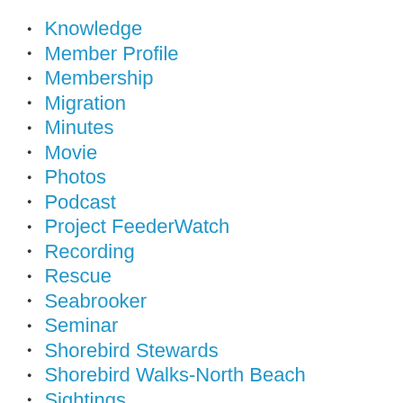Knowledge
Member Profile
Membership
Migration
Minutes
Movie
Photos
Podcast
Project FeederWatch
Recording
Rescue
Seabrooker
Seminar
Shorebird Stewards
Shorebird Walks-North Beach
Sightings